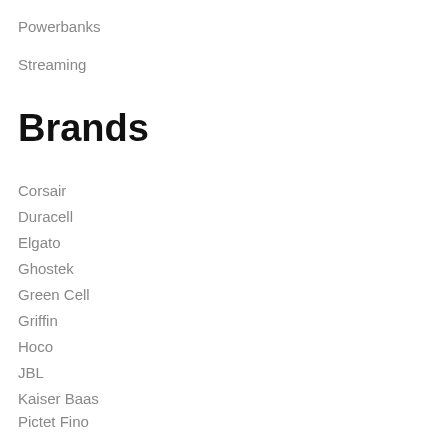Powerbanks
Streaming
Brands
Corsair
Duracell
Elgato
Ghostek
Green Cell
Griffin
Hoco
JBL
Kaiser Baas
Pictet Fino
QCY
Remax